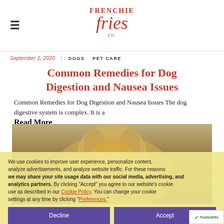Frenchie Fries Co.
September 1, 2020  DOGS  PET CARE
Common Remedies for Dog Digestion and Nausea Issues
Common Remedies for Dog Digestion and Nausea Issues The dog digestive system is complex. It is a
Read More
We use cookies to improve user experience, personalize content, analyze advertisements, and analyze website traffic. For these reasons we may share your site usage data with our social media, advertising, and analytics partners. By clicking "Accept" you agree to our website's cookie use as described in our Cookie Policy. You can change your cookie settings at any time by clicking "Preferences."
Decline  Accept